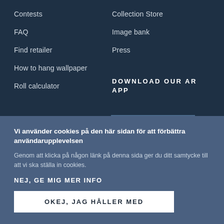Contests
Collection Store
FAQ
Image bank
Find retailer
Press
How to hang wallpaper
DOWNLOAD OUR AR APP
Roll calculator
Vi använder cookies på den här sidan för att förbättra användarupplevelsen
Genom att klicka på någon länk på denna sida ger du ditt samtycke till att vi ska ställa in cookies.
NEJ, GE MIG MER INFO
OKEJ, JAG HÅLLER MED